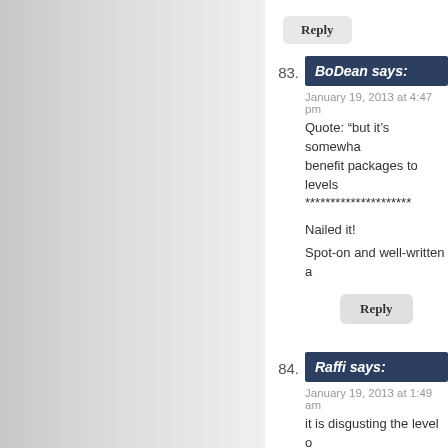Reply
83. BoDean says:
January 19, 2013 at 4:47 pm
Quote: “but it’s somewhat benefit packages to levels ***********************
Nailed it!
Spot-on and well-written a
Reply
84. Raffi says:
January 19, 2013 at 1:49 am
it is disgusting the level o general public, without an
Reply